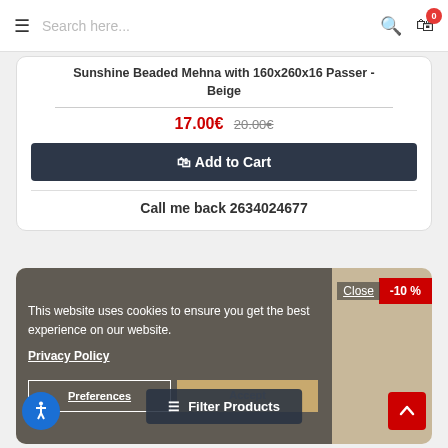Search here...
Sunshine Beaded Mehna with 160x260x16 Passer - Beige
17.00€  20.00€
Add to Cart
Call me back 2634024677
-10 %
Close
This website uses cookies to ensure you get the best experience on our website.
Privacy Policy
Preferences
Accept
Filter Products